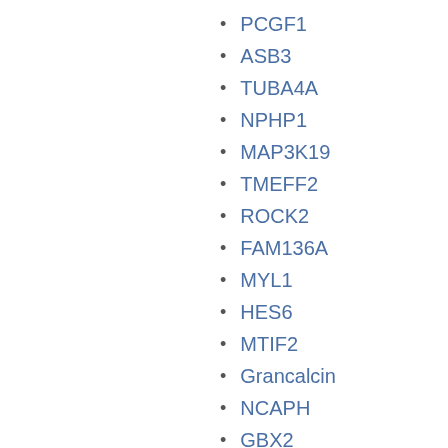PCGF1
ASB3
TUBA4A
NPHP1
MAP3K19
TMEFF2
ROCK2
FAM136A
MYL1
HES6
MTIF2
Grancalcin
NCAPH
GBX2